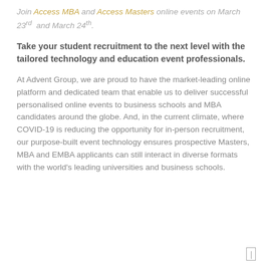Join Access MBA and Access Masters online events on March 23rd and March 24th.
Take your student recruitment to the next level with the tailored technology and education event professionals.
At Advent Group, we are proud to have the market-leading online platform and dedicated team that enable us to deliver successful personalised online events to business schools and MBA candidates around the globe. And, in the current climate, where COVID-19 is reducing the opportunity for in-person recruitment, our purpose-built event technology ensures prospective Masters, MBA and EMBA applicants can still interact in diverse formats with the world's leading universities and business schools.